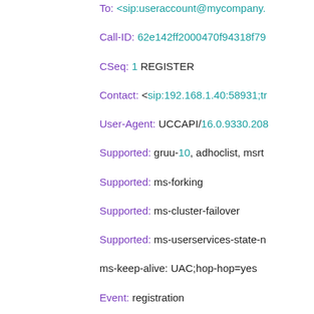To: <sip:useraccount@mycompany.
Call-ID: 62e142ff2000470f94318f79
CSeq: 1 REGISTER
Contact: <sip:192.168.1.40:58931;tr
User-Agent: UCCAPI/16.0.9330.208
Supported: gruu-10, adhoclist, msrt
Supported: ms-forking
Supported: ms-cluster-failover
Supported: ms-userservices-state-n
ms-keep-alive: UAC;hop-hop=yes
Event: registration
ms-telemetry-id: 628d5a75-0e34-42